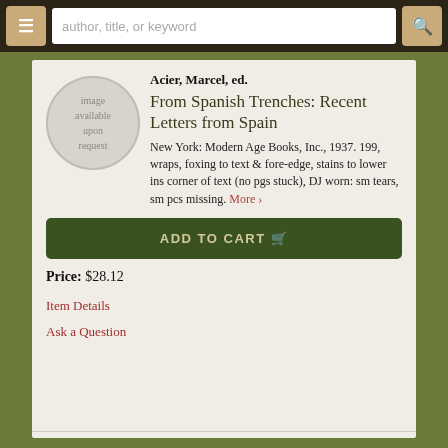[Figure (screenshot): Website header with hamburger menu button, search input field placeholder text 'author, title, or keyword', and search icon button]
[Figure (illustration): Circular gray placeholder image with text 'image available upon request']
Acier, Marcel, ed.
From Spanish Trenches: Recent Letters from Spain
New York: Modern Age Books, Inc., 1937. 199, wraps, foxing to text & fore-edge, stains to lower ins corner of text (no pgs stuck), DJ worn: sm tears, sm pcs missing. More ›
ADD TO CART
Price: $28.12
Item Details
Ask a Question